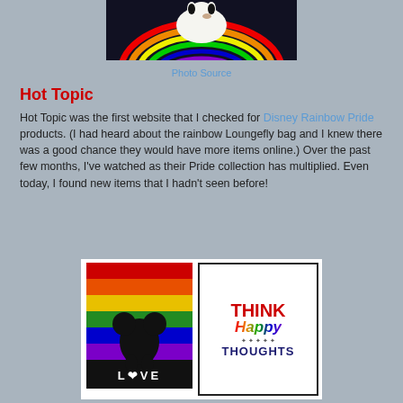[Figure (photo): Snoopy lying on rainbow on black background, partially cropped at top]
Photo Source
Hot Topic
Hot Topic was the first website that I checked for Disney Rainbow Pride products.  (I had heard about the rainbow Loungefly bag and I knew there was a good chance they would have more items online.)  Over the past few months, I've watched as their Pride collection has multiplied.  Even today, I found new items that I hadn't seen before!
[Figure (photo): Two Disney Pride merchandise items: a Mickey Mouse rainbow LOVE design and a Think Happy Thoughts poster]